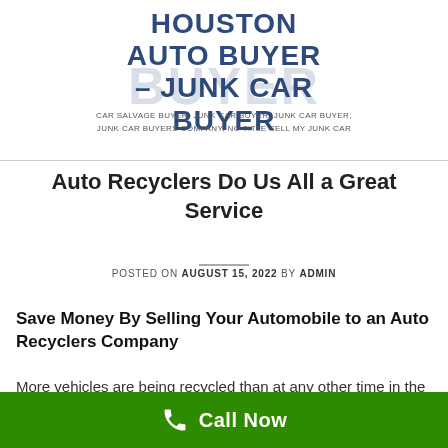HOUSTON AUTO BUYER – JUNK CAR BUYER
CAR SALVAGE BUYER, JUNKCAR BUYER, JUNK CAR BUYER, JUNK CAR BUYERS COMPANY, NO TITLE SELL MY JUNK CAR
Auto Recyclers Do Us All a Great Service
POSTED ON AUGUST 15, 2022 BY ADMIN
Save Money By Selling Your Automobile to an Auto Recyclers Company
More vehicles are being recycled than at any other time in the history of the automobile, thanks to auto recyclers. Auto
Call Now